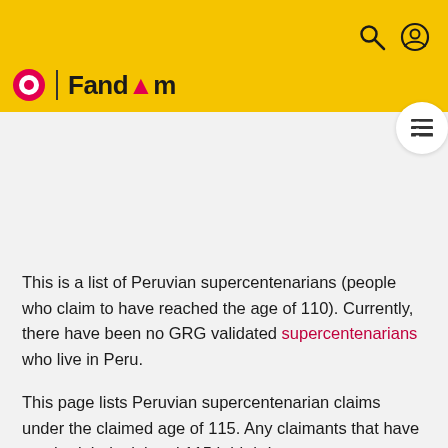Fandom
This is a list of Peruvian supercentenarians (people who claim to have reached the age of 110). Currently, there have been no GRG validated supercentenarians who live in Peru.
This page lists Peruvian supercentenarian claims under the claimed age of 115. Any claimants that have reached their claimed 115th birthday can go to Longevity claims.